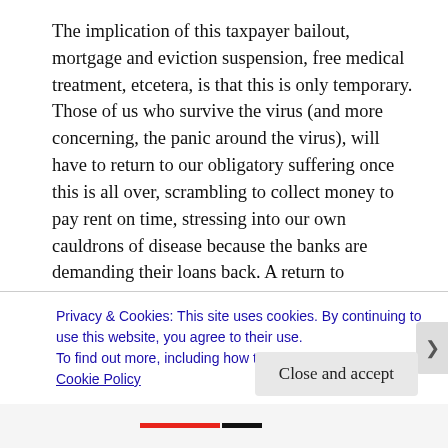The implication of this taxpayer bailout, mortgage and eviction suspension, free medical treatment, etcetera, is that this is only temporary. Those of us who survive the virus (and more concerning, the panic around the virus), will have to return to our obligatory suffering once this is all over, scrambling to collect money to pay rent on time, stressing into our own cauldrons of disease because the banks are demanding their loans back. A return to normalcy is a return to self-immolating idiocy. Wading knee-deep through the binary fusion of human filth, our excrement killing everything in its frothy wake. Most certainly, things should not go back to normal.
Privacy & Cookies: This site uses cookies. By continuing to use this website, you agree to their use.
To find out more, including how to control cookies, see here: Cookie Policy